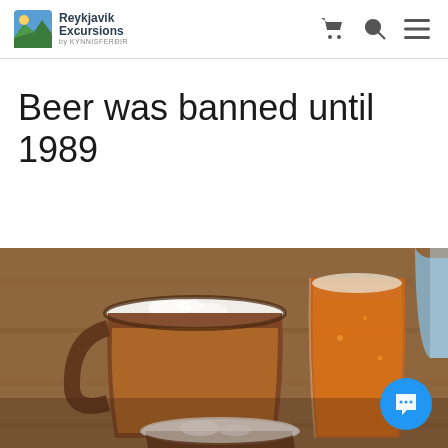Reykjavik Excursions by Kynnisferðir
Beer was banned until 1989
[Figure (photo): Close-up photo of several glass beer mugs filled with beer and foam, placed on a wooden surface]